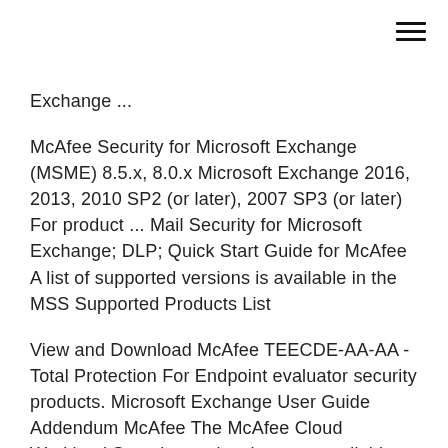[Figure (other): Hamburger menu icon (three horizontal lines) in the top-right corner]
Exchange ...
McAfee Security for Microsoft Exchange (MSME) 8.5.x, 8.0.x Microsoft Exchange 2016, 2013, 2010 SP2 (or later), 2007 SP3 (or later) For product ... Mail Security for Microsoft Exchange; DLP; Quick Start Guide for McAfee A list of supported versions is available in the MSS Supported Products List
View and Download McAfee TEECDE-AA-AA - Total Protection For Endpoint evaluator security products. Microsoft Exchange User Guide Addendum McAfee The McAfee Cloud Workload Security product became available